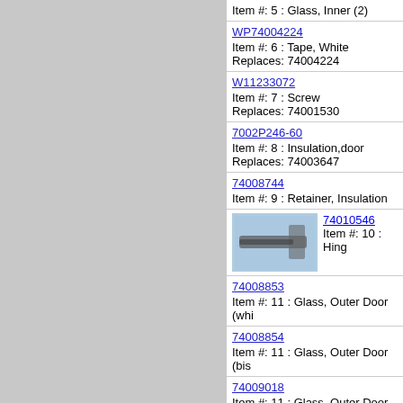[Figure (photo): Gray panel on the left side of the page, placeholder/diagram area]
Item #: 5 : Glass, Inner (2)
WP74004224
Item #: 6 : Tape, White
Replaces: 74004224
W11233072
Item #: 7 : Screw
Replaces: 74001530
7002P246-60
Item #: 8 : Insulation,door
Replaces: 74003647
74008744
Item #: 9 : Retainer, Insulation
74010546
Item #: 10 : Hing
74008853
Item #: 11 : Glass, Outer Door (whi
74008854
Item #: 11 : Glass, Outer Door (bis
74009018
Item #: 11 : Glass, Outer Door (bla
74010561
Item #: 12 : Trim, Door Side (or...